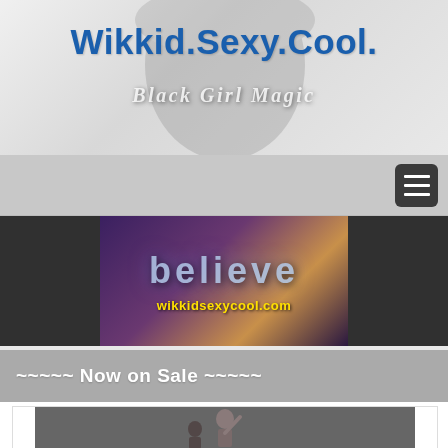Wikkid.Sexy.Cool.
[Figure (screenshot): Website header banner with dark background showing a face silhouette and italic script tagline 'Black Girl Magic' in white text]
[Figure (screenshot): Navigation bar with hamburger menu button on the right]
[Figure (screenshot): Banner image with 'believe' text and wikkidsexycool.com watermark]
~~~~~ Now on Sale ~~~~~
[Figure (photo): Photo of a person with arm raised, shown from behind/side angle against dark background]